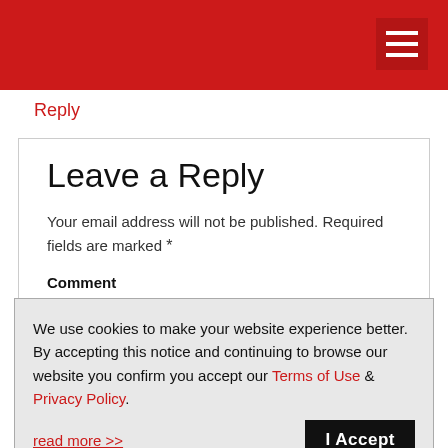Reply
Leave a Reply
Your email address will not be published. Required fields are marked *
Comment
We use cookies to make your website experience better. By accepting this notice and continuing to browse our website you confirm you accept our Terms of Use & Privacy Policy.
read more >>  I Accept